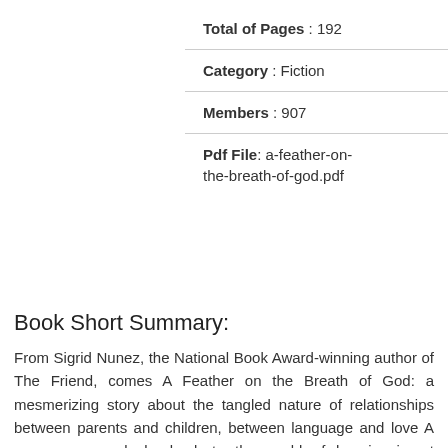Total of Pages : 192
Category : Fiction
Members : 907
Pdf File: a-feather-on-the-breath-of-god.pdf
Book Short Summary:
From Sigrid Nunez, the National Book Award-winning author of The Friend, comes A Feather on the Breath of God: a mesmerizing story about the tangled nature of relationships between parents and children, between language and love A young woman looks back to the world of her immigrant parents: a